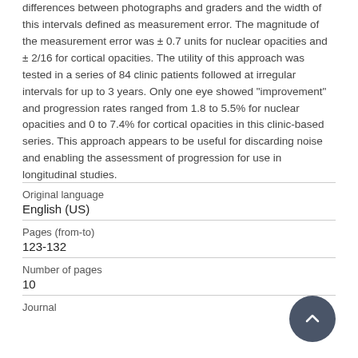differences between photographs and graders and the width of this intervals defined as measurement error. The magnitude of the measurement error was ± 0.7 units for nuclear opacities and ± 2/16 for cortical opacities. The utility of this approach was tested in a series of 84 clinic patients followed at irregular intervals for up to 3 years. Only one eye showed "improvement" and progression rates ranged from 1.8 to 5.5% for nuclear opacities and 0 to 7.4% for cortical opacities in this clinic-based series. This approach appears to be useful for discarding noise and enabling the assessment of progression for use in longitudinal studies.
| Field | Value |
| --- | --- |
| Original language | English (US) |
| Pages (from-to) | 123-132 |
| Number of pages | 10 |
| Journal |  |